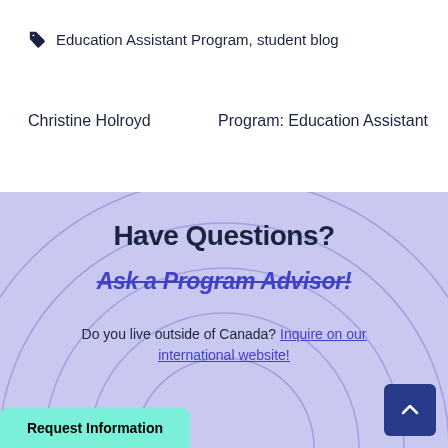Education Assistant Program, student blog
Christine Holroyd
Program: Education Assistant
Have Questions?
Ask a Program Advisor!
Do you live outside of Canada? Inquire on our international website!
Request Information